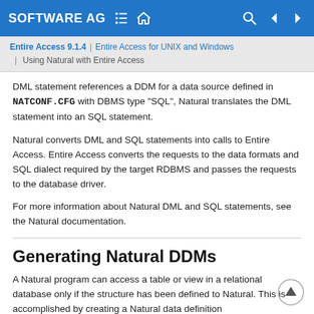SOFTWARE AG | Entire Access 9.1.4 | Entire Access for UNIX and Windows | Using Natural with Entire Access
DML statement references a DDM for a data source defined in NATCONF.CFG with DBMS type "SQL", Natural translates the DML statement into an SQL statement.
Natural converts DML and SQL statements into calls to Entire Access. Entire Access converts the requests to the data formats and SQL dialect required by the target RDBMS and passes the requests to the database driver.
For more information about Natural DML and SQL statements, see the Natural documentation.
Generating Natural DDMs
A Natural program can access a table or view in a relational database only if the structure has been defined to Natural. This is accomplished by creating a Natural data definition